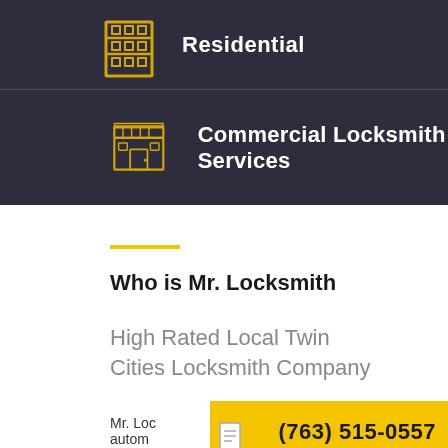Residential
Commercial Locksmith Services
Who is Mr. Locksmith
High Rated Local Twin Cities Locksmith Company
Mr. Loc… autom…
(763) 515-0557